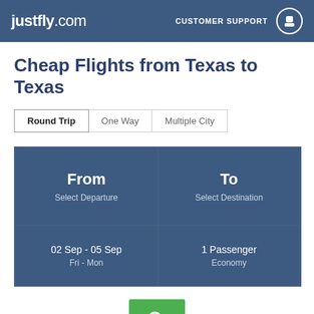justfly.com | CUSTOMER SUPPORT
Cheap Flights from Texas to Texas
Round Trip | One Way | Multiple City
| From | To |
| --- | --- |
| Select Departure | Select Destination |
| 02 Sep - 05 Sep
Fri - Mon | 1 Passenger
Economy |